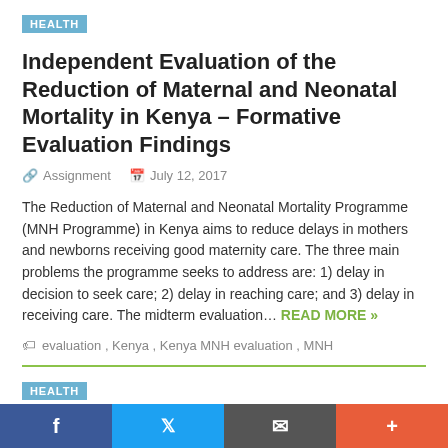HEALTH
Independent Evaluation of the Reduction of Maternal and Neonatal Mortality in Kenya – Formative Evaluation Findings
Assignment   July 12, 2017
The Reduction of Maternal and Neonatal Mortality Programme (MNH Programme) in Kenya aims to reduce delays in mothers and newborns receiving good maternity care. The three main problems the programme seeks to address are: 1) delay in decision to seek care; 2) delay in reaching care; and 3) delay in receiving care. The midterm evaluation… READ MORE »
evaluation, Kenya, Kenya MNH evaluation, MNH
HEALTH
Independent Evaluation of the Reduction of Maternal and Neonatal Mortality in Kenya